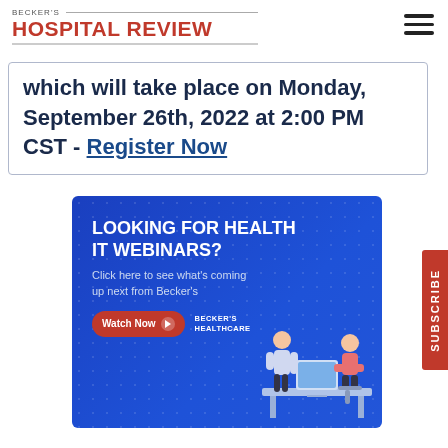BECKER'S HOSPITAL REVIEW
which will take place on Monday, September 26th, 2022 at 2:00 PM CST - Register Now
[Figure (infographic): Becker's Healthcare advertisement banner on blue background with headline 'LOOKING FOR HEALTH IT WEBINARS?', subtext 'Click here to see what's coming up next from Becker's', a red Watch Now button, Becker's Healthcare logo, and an illustration of two healthcare professionals at a desk with a computer.]